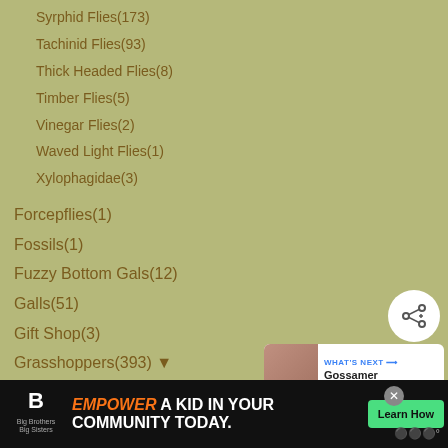Syrphid Flies(173)
Tachinid Flies(93)
Thick Headed Flies(8)
Timber Flies(5)
Vinegar Flies(2)
Waved Light Flies(1)
Xylophagidae(3)
Forcepflies(1)
Fossils(1)
Fuzzy Bottom Gals(12)
Galls(51)
Gift Shop(3)
Grasshoppers(393) ▼
Toxic Milkweed Grasshoppers(73)
Hump Winged Crickets(14)
Ikebana(2)
Katydids(501)
Louse(46)
[Figure (screenshot): Web UI overlay showing heart/like button (blue circle), count badge showing 1, share button, and WHAT'S NEXT panel for Gossamer Winged...]
[Figure (screenshot): Advertisement bar: Big Brothers Big Sisters logo, EMPOWER A KID IN YOUR COMMUNITY TODAY text, Learn How green button, close X button, weather icon]